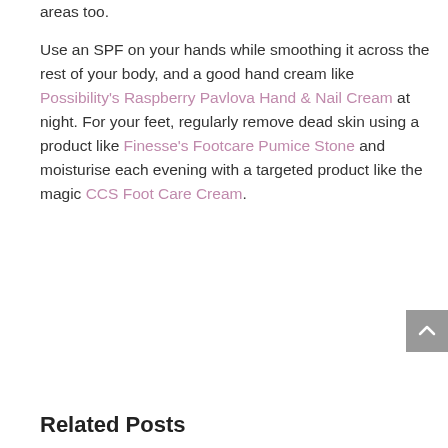areas too. Use an SPF on your hands while smoothing it across the rest of your body, and a good hand cream like Possibility's Raspberry Pavlova Hand & Nail Cream at night. For your feet, regularly remove dead skin using a product like Finesse's Footcare Pumice Stone and moisturise each evening with a targeted product like the magic CCS Foot Care Cream.
Related Posts